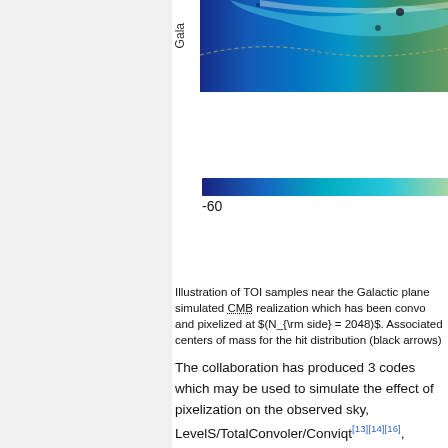[Figure (other): Colormap illustration of TOI samples near the Galactic plane, showing a false-color image and colorbar with label -60]
Illustration of TOI samples near the Galactic plane simulated CMB realization which has been conv and pixelized at $(N_{\rm side} = 2048)$. Associ centers of mass for the hit distribution (black arr
The collaboration has produced 3 codes which may be used to simulate the effect of pixelization on the observed sky, LevelS/TotalConvoler/Conviqt[13][14][16], FeBeCoP[9], and FICSBell.
For the measurement of CMB fluctuations, the effects of pixelization may be studied analytically. On the small scales relevant to pixelization, the observed CMB is smooth, both due to